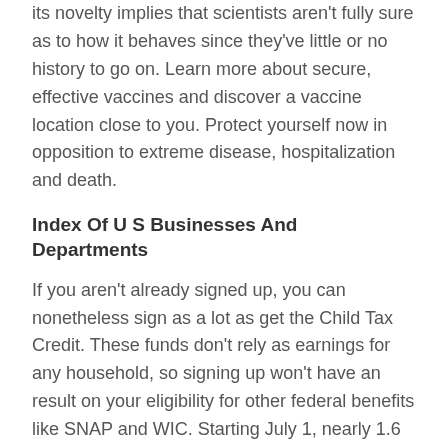its novelty implies that scientists aren't fully sure as to how it behaves since they've little or no history to go on. Learn more about secure, effective vaccines and discover a vaccine location close to you. Protect yourself now in opposition to extreme disease, hospitalization and death.
Index Of U S Businesses And Departments
If you aren't already signed up, you can nonetheless sign as a lot as get the Child Tax Credit. These funds don't rely as earnings for any household, so signing up won't have an result on your eligibility for other federal benefits like SNAP and WIC. Starting July 1, nearly 1.6 million Medicaid beneficiaries in North Carolina began receiving the identical Medicaid providers in a new means via NC Medicaid Managed Care well being plans.
Hhs Gov
A broad array of health associated analysis is supported or